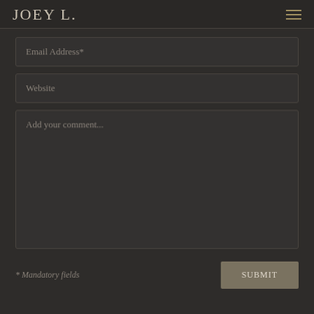JOEY L.
Email Address*
Website
Add your comment...
* Mandatory fields
SUBMIT